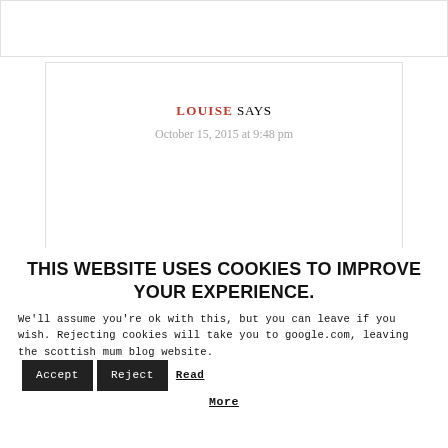LOUISE SAYS
October 15, 2015 at 9:48 pm
THIS WEBSITE USES COOKIES TO IMPROVE YOUR EXPERIENCE.
We'll assume you're ok with this, but you can leave if you wish. Rejecting cookies will take you to google.com, leaving the scottish mum blog website. Accept Reject Read More